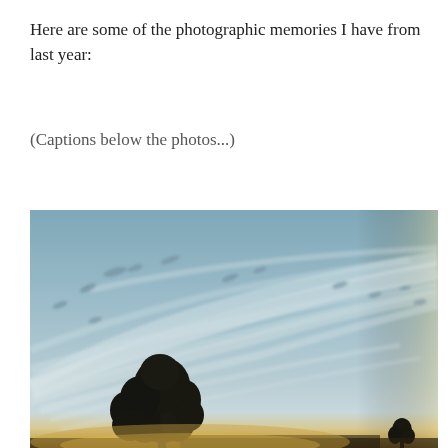Here are some of the photographic memories I have from last year:
(Captions below the photos...)
[Figure (photo): A wide sky photograph at dusk showing cirrus clouds sweeping diagonally across a pale blue-grey sky. In the lower left corner, the dark silhouette of a tree is visible. Along the bottom horizon, a warm golden-yellow glow from the setting sun is present. Small dark birds or cloud wisps are scattered across the upper sky.]